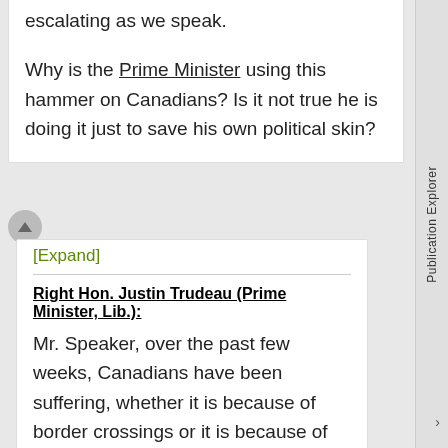escalating as we speak.
Why is the Prime Minister using this hammer on Canadians? Is it not true he is doing it just to save his own political skin?
[Expand]
Right Hon. Justin Trudeau (Prime Minister, Lib.):
Mr. Speaker, over the past few weeks, Canadians have been suffering, whether it is because of border crossings or it is because of illegal blockades in their neighbourhood. These are some things that required extra tools, which we have put in law enforcement's hands. Of course, local law enforcement with jurisdiction can use these tools or not as